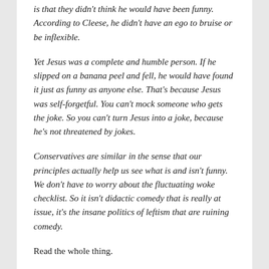is that they didn't think he would have been funny. According to Cleese, he didn't have an ego to bruise or be inflexible.
Yet Jesus was a complete and humble person. If he slipped on a banana peel and fell, he would have found it just as funny as anyone else. That's because Jesus was self-forgetful. You can't mock someone who gets the joke. So you can't turn Jesus into a joke, because he's not threatened by jokes.
Conservatives are similar in the sense that our principles actually help us see what is and isn't funny. We don't have to worry about the fluctuating woke checklist. So it isn't didactic comedy that is really at issue, it's the insane politics of leftism that are ruining comedy.
Read the whole thing.
While I was reading the post, I was reminded of a point that Jordan Peterson has made about another difference between the Left and the Right. As a society, we know when the Right goes too far. There's a reasonably well defined limit associated with racism. (Which is interesting